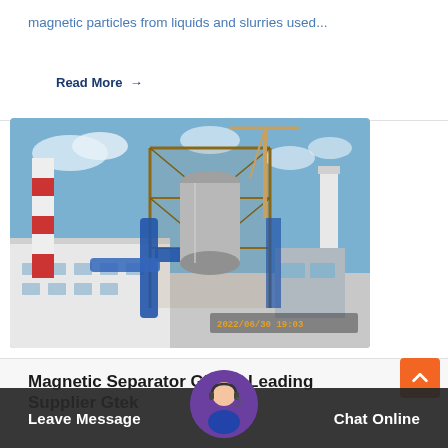magnetic particles from liquids and slurries used…
Read More →
[Figure (photo): Industrial facility with large magnetic separator equipment, red and white chimney stack, blue piping, grey buildings, cranes in background, dated 2022/06/30 19:03]
Magnetic Separator Global Leading Supplier Gtek
Leave Message   Chat Online